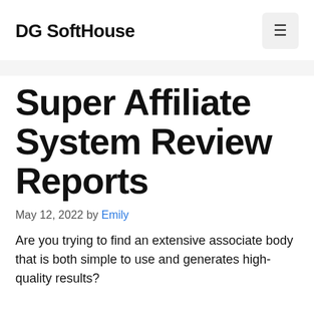DG SoftHouse
Super Affiliate System Review Reports
May 12, 2022 by Emily
Are you trying to find an extensive associate body that is both simple to use and generates high-quality results?